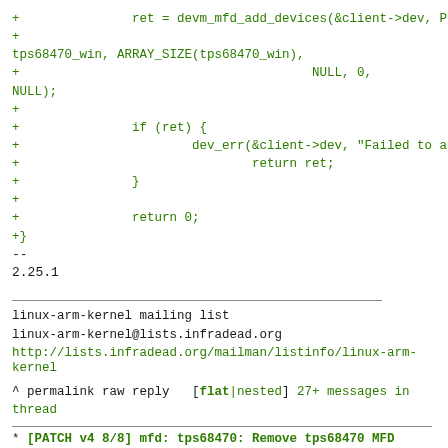+		ret = devm_mfd_add_devices(&client->dev, PLATFORM_DEVID_NONE,
+
tps68470_win, ARRAY_SIZE(tps68470_win),
+						NULL, 0,
NULL);
+
+		if (ret) {
+			dev_err(&client->dev, "Failed to add MFD devices\n");
+				return ret;
+		}
+
+		return 0;
+}
--
2.25.1
linux-arm-kernel mailing list
linux-arm-kernel@lists.infradead.org
http://lists.infradead.org/mailman/listinfo/linux-arm-kernel
^ permalink raw reply   [flat|nested] 27+ messages in thread
* [PATCH v4 8/8] mfd: tps68470: Remove tps68470 MFD